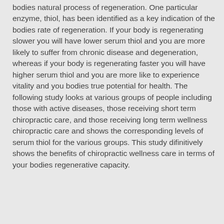bodies natural process of regeneration. One particular enzyme, thiol, has been identified as a key indication of the bodies rate of regeneration. If your body is regenerating slower you will have lower serum thiol and you are more likely to suffer from chronic disease and degeneration, whereas if your body is regenerating faster you will have higher serum thiol and you are more like to experience vitality and you bodies true potential for health. The following study looks at various groups of people including those with active diseases, those receiving short term chiropractic care, and those receiving long term wellness chiropractic care and shows the corresponding levels of serum thiol for the various groups. This study difinitively shows the benefits of chiropractic wellness care in terms of your bodies regenerative capacity.